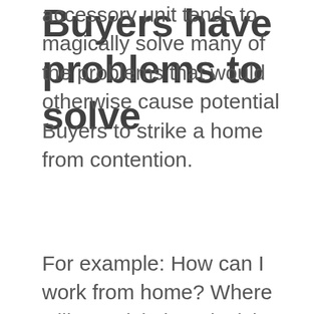accessory unit tends to magically solve many of the problems that would otherwise cause potential Buyers to strike a home from contention.
Buyers have problems to solve
For example: How can I work from home? Where will we stick the television that we really wish we could do without? How can we generate some income to pay a bigger mortgage? Where will the grandma live?